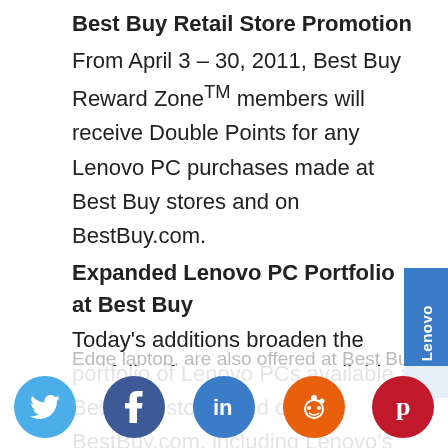Best Buy Retail Store Promotion
From April 3 – 30, 2011, Best Buy Reward Zone™ members will receive Double Points for any Lenovo PC purchases made at Best Buy stores and on BestBuy.com.
Expanded Lenovo PC Portfolio at Best Buy
Today's additions broaden the portfolio of Lenovo PCs available at Best Buy stores and on BestBuy.com, including Lenovo's IdeaCentre K Series desktops, which have been offered at Best Buy stores and on BestBuy.com since September 2010. Select
Edge laptop, are also offered at Best Bu...
[Figure (logo): Lenovo brand badge, vertical text on blue background on right side]